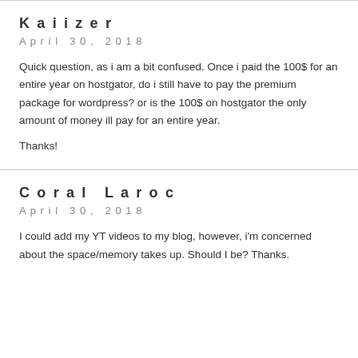Kaiizer
April 30, 2018
Quick question, as i am a bit confused. Once i paid the 100$ for an entire year on hostgator, do i still have to pay the premium package for wordpress? or is the 100$ on hostgator the only amount of money ill pay for an entire year.
Thanks!
Coral Laroc
April 30, 2018
I could add my YT videos to my blog, however, i'm concerned about the space/memory takes up. Should I be? Thanks.